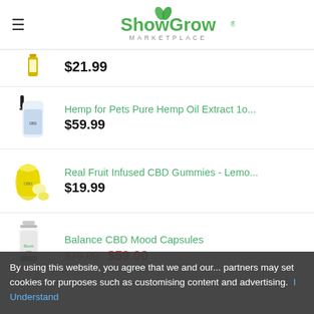ShowGrow Marketplace
$21.99
Hemp for Pets Pure Hemp Oil Extract 10... $59.99
Real Fruit Infused CBD Gummies - Lemo... $19.99
Balance CBD Mood Capsules $79.00 $59.00
By using this website, you agree that we and our... partners may set cookies for purposes such as customising content and advertising. I Understand